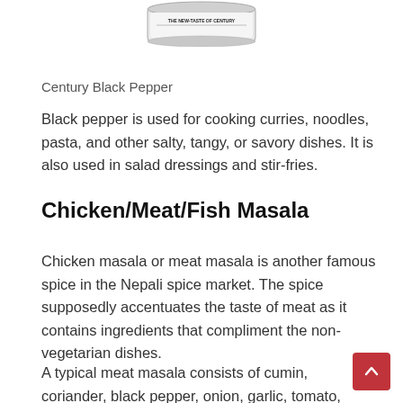[Figure (photo): Product can/container with text 'THE NEW TASTE OF CENTURY' shown from above]
Century Black Pepper
Black pepper is used for cooking curries, noodles, pasta, and other salty, tangy, or savory dishes. It is also used in salad dressings and stir-fries.
Chicken/Meat/Fish Masala
Chicken masala or meat masala is another famous spice in the Nepali spice market. The spice supposedly accentuates the taste of meat as it contains ingredients that compliment the non-vegetarian dishes.
A typical meat masala consists of cumin, coriander, black pepper, onion, garlic, tomato, turmeric, fenugreek, nutmeg